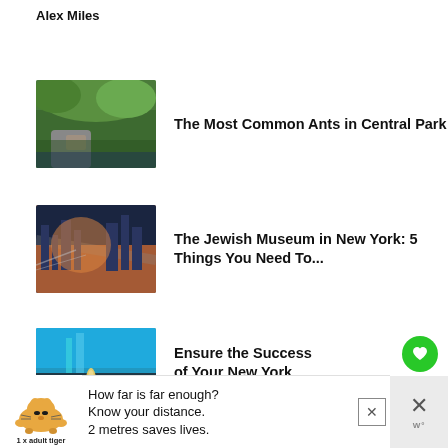Alex Miles
The Most Common Ants in Central Park
[Figure (photo): Central Park scene with rocky outcrop, trees and water]
The Jewish Museum in New York: 5 Things You Need To...
[Figure (photo): New York City skyline and bridge at golden hour]
Ensure the Success of Your New York Trip with These Tips
[Figure (photo): Times Square NYC street scene with yellow taxis and pedestrian]
Visiting Masseria Dei Vini: Unique Cuisine in Hell's Kitchen
[Figure (photo): Food dish with colorful cuisine]
WHAT'S NEXT → NYC Graffiti Tours
How far is far enough? Know your distance. 2 metres saves lives. 1 x adult tiger